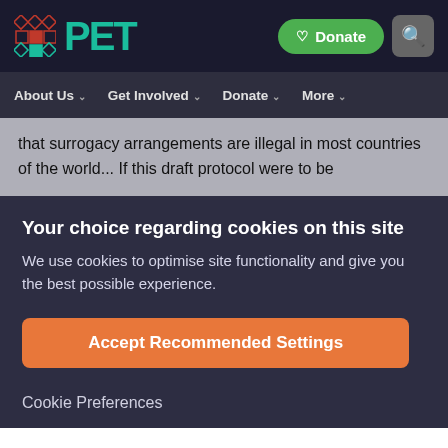[Figure (logo): PET organization logo with teal PET text and grid icon on dark background, with green Donate button and search icon]
About Us  Get Involved  Donate  More
that surrogacy arrangements are illegal in most countries of the world... If this draft protocol were to be
Your choice regarding cookies on this site
We use cookies to optimise site functionality and give you the best possible experience.
Accept Recommended Settings
Cookie Preferences